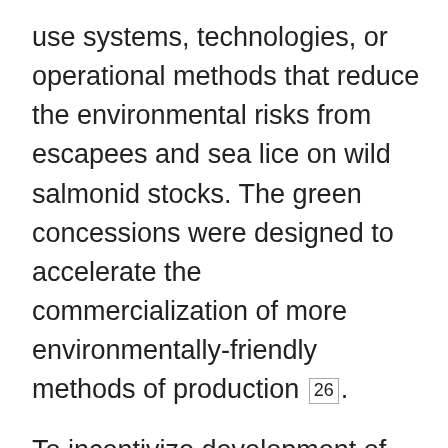use systems, technologies, or operational methods that reduce the environmental risks from escapees and sea lice on wild salmonid stocks. The green concessions were designed to accelerate the commercialization of more environmentally-friendly methods of production 26.
To incentivize development of the offshore sector, the Norwegian Directorate of Fisheries launched a new Development Licensing Program in November 2015 that will grant free development concessions